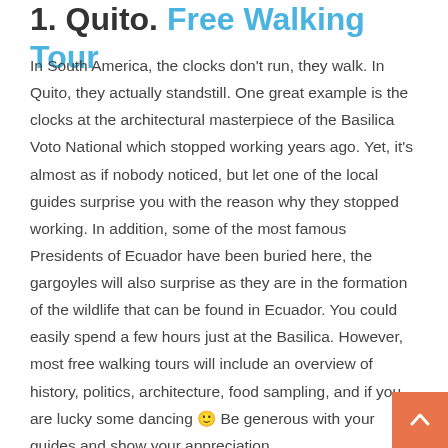1. Quito. Free Walking Tour
In South America, the clocks don't run, they walk. In Quito, they actually standstill. One great example is the clocks at the architectural masterpiece of the Basilica Voto National which stopped working years ago. Yet, it's almost as if nobody noticed, but let one of the local guides surprise you with the reason why they stopped working. In addition, some of the most famous Presidents of Ecuador have been buried here, the gargoyles will also surprise as they are in the formation of the wildlife that can be found in Ecuador. You could easily spend a few hours just at the Basilica. However, most free walking tours will include an overview of history, politics, architecture, food sampling, and if you are lucky some dancing 🙂 Be generous with your guides and show your appreciation.